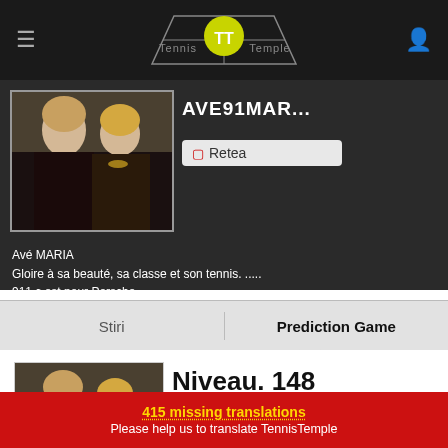[Figure (screenshot): Tennis Temple app header with logo, hamburger menu, and user icon on dark background]
[Figure (photo): Two blonde women posing together, profile photo of user AVE91MARIA]
AVE91MARIA
Retea
Avé MARIA
Gloire à sa beauté, sa classe et son tennis. .....
911 c est pour Porsche . . .
Stiri
Prediction Game
[Figure (photo): Two blonde women, same profile photo repeated in the bottom white section]
Niveau. 148
11 / 85
Votre niveau - Plus vous réussissez de bons pronostics, plus vous progressez.
Vos médailles - Elles traduisent votre efficacité (% de réussite) par rapport aux autres pronostiqueurs.
415 missing translations
Please help us to translate TennisTemple